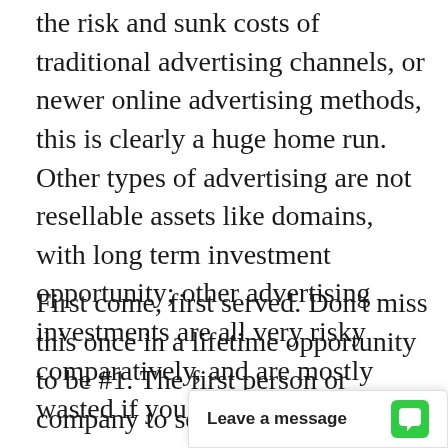the risk and sunk costs of traditional advertising channels, or newer online advertising methods, this is clearly a huge home run. Other types of advertising are not resellable assets like domains, with long term investment opportunity; other advertising investments are all very risky comparatively, and are mostly wasted if you think about it.
First come, first served. Don't miss this once in a lifetime opportunity to be #1. The first person or company to secure Ponnaya.com from this site can control it forever, to the exclusion of all others. It will become out of our control. Get it first; and get ranked first in Google! All that matters online is Location Location Location! Your Domain is Your Location! and brand, and future profits; dont shortchange it obviously! You can re your existing internet
Leave a message